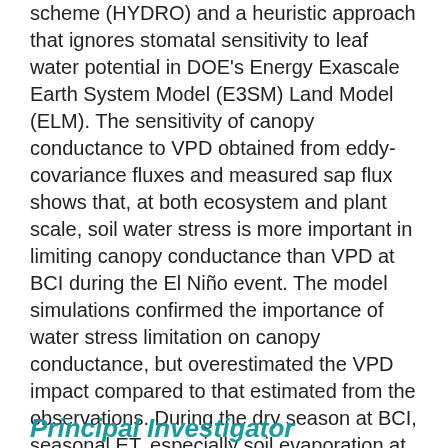scheme (HYDRO) and a heuristic approach that ignores stomatal sensitivity to leaf water potential in DOE's Energy Exascale Earth System Model (E3SM) Land Model (ELM). The sensitivity of canopy conductance to VPD obtained from eddy-covariance fluxes and measured sap flux shows that, at both ecosystem and plant scale, soil water stress is more important in limiting canopy conductance than VPD at BCI during the El Niño event. The model simulations confirmed the importance of water stress limitation on canopy conductance, but overestimated the VPD impact compared to that estimated from the observations. During the dry season at BCI, seasonal ET, especially soil evaporation at VPD > 0.42 kPa simulated using HYDRO and ELM, was too strong and will require alternative parameterizations.
Principal Investigator